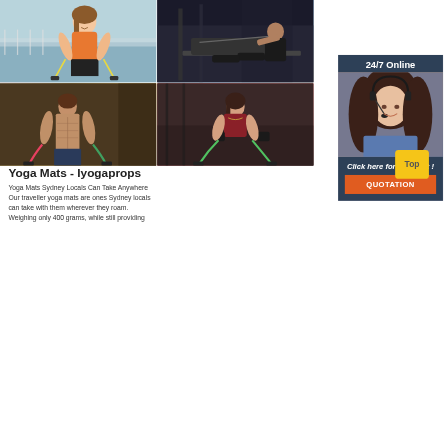[Figure (photo): Collage of four fitness photos: woman with resistance bands outdoors, man using gym rowing machine, shirtless man exercising with bands, woman in gym using resistance cables]
[Figure (infographic): 24/7 Online chat panel with woman wearing headset, 'Click here for free chat!' text, and orange QUOTATION button]
Yoga Mats - lyogaprops
Yoga Mats Sydney Locals Can Take Anywhere Our traveller yoga mats are ones Sydney locals can take with them wherever they roam. Weighing only 400 grams, while still providing